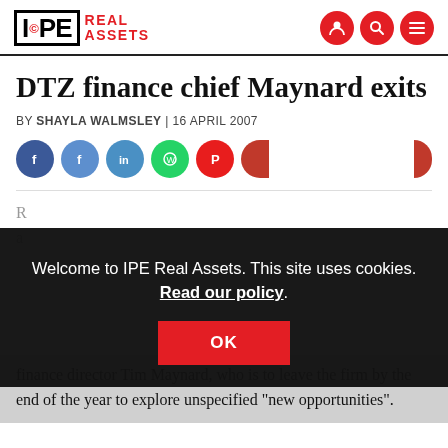IPE REAL ASSETS
DTZ finance chief Maynard exits
BY SHAYLA WALMSLEY | 16 APRIL 2007
[Figure (other): Social share buttons row: Facebook (dark blue), Facebook (light blue), Twitter/share (teal/blue), WhatsApp (green), Pinterest (red), and more buttons]
Welcome to IPE Real Assets. This site uses cookies. Read our policy.
finance director Tim Maynard, who is to leave the firm by the end of the year to explore unspecified "new opportunities".